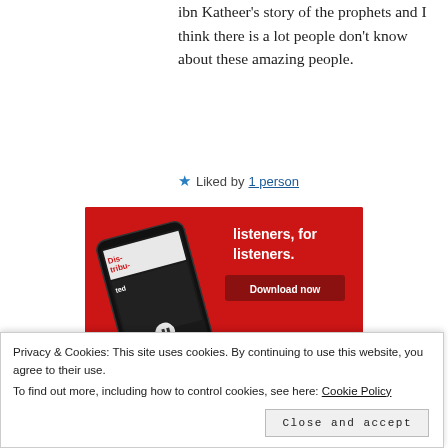ibn Katheer’s story of the prophets and I think there is a lot people don’t know about these amazing people.
★ Liked by 1 person
[Figure (photo): Advertisement image on a red background showing a smartphone with a podcast app (Distributed) and text 'listeners, for listeners.' with a 'Download now' button]
Privacy & Cookies: This site uses cookies. By continuing to use this website, you agree to their use.
To find out more, including how to control cookies, see here: Cookie Policy
Close and accept